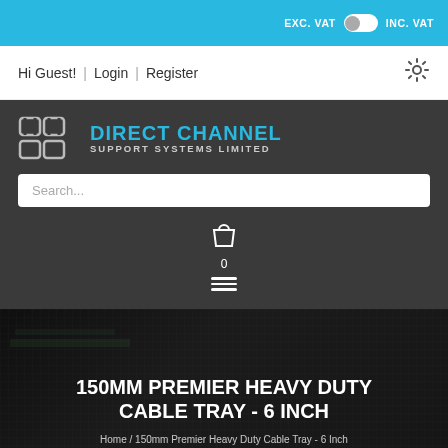EXC. VAT | INC. VAT toggle
Hi Guest! | Login | Register
[Figure (logo): Direct Channel Support Systems Limited logo with stylized DC brackets in silver and blue text on dark background]
Search...
150MM PREMIER HEAVY DUTY CABLE TRAY - 6 INCH
Home / 150mm Premier Heavy Duty Cable Tray - 6 Inch